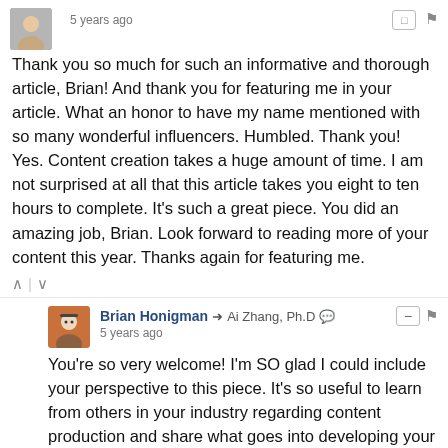[Figure (photo): User avatar photo (top commenter, partially visible), timestamp '5 years ago', action icons]
Thank you so much for such an informative and thorough article, Brian! And thank you for featuring me in your article. What an honor to have my name mentioned with so many wonderful influencers. Humbled. Thank you! Yes. Content creation takes a huge amount of time. I am not surprised at all that this article takes you eight to ten hours to complete. It's such a great piece. You did an amazing job, Brian. Look forward to reading more of your content this year. Thanks again for featuring me.
^ | v
[Figure (photo): Brian Honigman avatar photo, reply header with name, arrow, recipient name, minus button, flag icon, '5 years ago']
You're so very welcome! I'm SO glad I could include your perspective to this piece. It's so useful to learn from others in your industry regarding content production and share what goes into developing your own work. Happy New Year! Stay wonderful. :)
^ | v